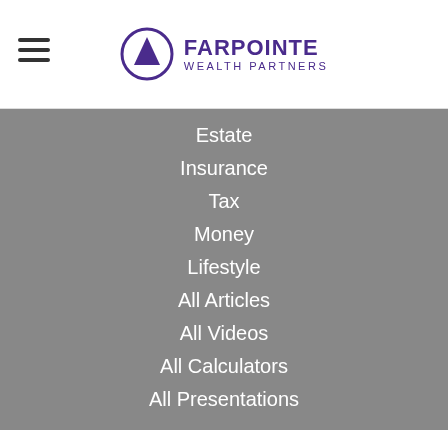Farpointe Wealth Partners
Estate
Insurance
Tax
Money
Lifestyle
All Articles
All Videos
All Calculators
All Presentations
Check the background of your financial professional on FINRA's BrokerCheck.
The content is developed from sources believed be providing accurate information. The information in this material is not intended as tax or legal